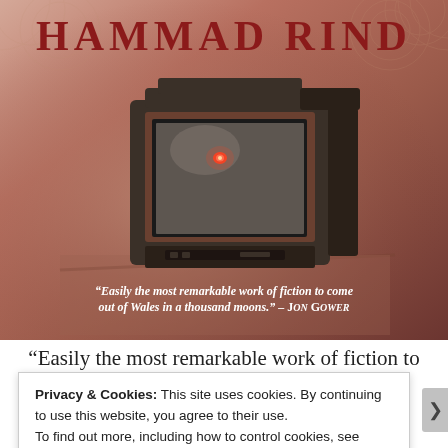[Figure (photo): Book cover for a novel by Hammad Rind, showing an old CRT television set with a glowing red light, sitting on a dusty floor against a reddish-brown wall. Decorative arabesque patterns appear in the top corners. The author's name 'HAMMAD RIND' appears at the top in large dark red capital letters. A quote appears at the bottom of the cover.]
“Easily the most remarkable work of fiction to come out of Wales in a thousand moons.” – Jon Gower
“Easily the most remarkable work of fiction to
Privacy & Cookies: This site uses cookies. By continuing to use this website, you agree to their use.
To find out more, including how to control cookies, see here: Cookie Policy
Close and accept